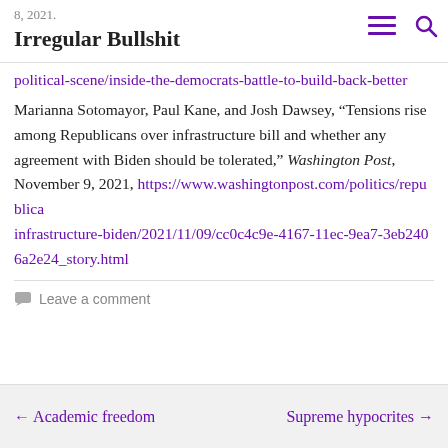Irregular Bullshit
8, 2021.
https://www.newyorker.com/news/the-political-scene/inside-the-democrats-battle-to-build-back-better
Marianna Sotomayor, Paul Kane, and Josh Dawsey, “Tensions rise among Republicans over infrastructure bill and whether any agreement with Biden should be tolerated,” Washington Post, November 9, 2021, https://www.washingtonpost.com/politics/republicans-infrastructure-biden/2021/11/09/cc0c4c9e-4167-11ec-9ea7-3eb2406a2e24_story.html
Leave a comment
← Academic freedom   Supreme hypocrites →